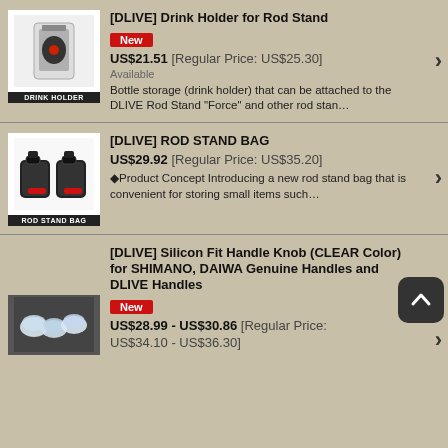[DLIVE] Drink Holder for Rod Stand
New
US$21.51 [Regular Price: US$25.30]
Available
Bottle storage (drink holder) that can be attached to the DLIVE Rod Stand "Force" and other rod stan…
[DLIVE] ROD STAND BAG
US$29.92 [Regular Price: US$35.20]
◆Product Concept Introducing a new rod stand bag that is convenient for storing small items such…
[DLIVE] Silicon Fit Handle Knob (CLEAR Color) for SHIMANO, DAIWA Genuine Handles and DLIVE Handles
New
US$28.99 - US$30.86 [Regular Price: US$34.10 - US$36.30]